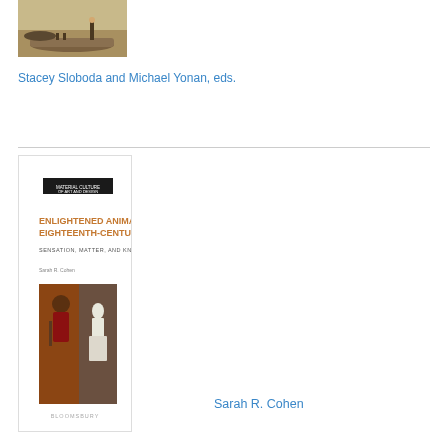[Figure (illustration): Book cover showing a historical illustration of a gondola with a figure and whale on water]
Stacey Sloboda and Michael Yonan, eds.
[Figure (illustration): Book cover for 'Enlightened Animals in Eighteenth-Century Art: Sensation, Matter, and Knowledge' by Sarah R. Cohen, published by Bloomsbury. Cover shows a painting of a monkey in a red coat playing a musical instrument beside a white sculpture.]
Sarah R. Cohen